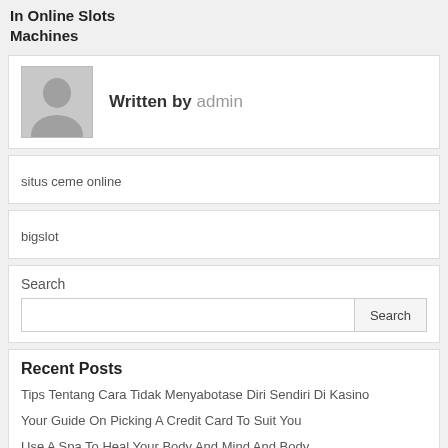In Online Slots Machines
Written by admin
situs ceme online
bigslot
Search
Recent Posts
Tips Tentang Cara Tidak Menyabotase Diri Sendiri Di Kasino
Your Guide On Picking A Credit Card To Suit You
Use A Spa To Heal Your Body And Mind And Body
Get Informed About Traveling Using These Straightforward To